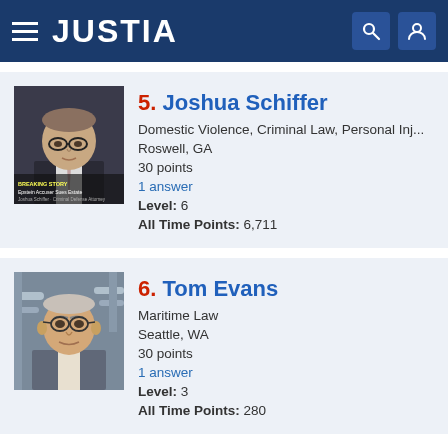JUSTIA
5. Joshua Schiffer
Domestic Violence, Criminal Law, Personal Inj...
Roswell, GA
30 points
1 answer
Level: 6
All Time Points: 6,711
6. Tom Evans
Maritime Law
Seattle, WA
30 points
1 answer
Level: 3
All Time Points: 280